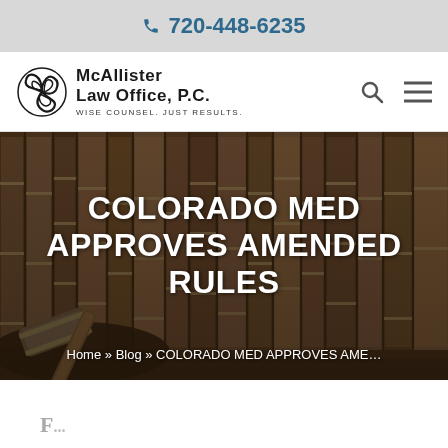720-448-6235
[Figure (logo): McAllister Law Office P.C. logo with Celtic triskelion symbol and tagline 'Wise Counsel. Just Results.']
[Figure (photo): Background photo of law books and gavel, dimmed/blurred]
COLORADO MED APPROVES AMENDED RULES
Home » Blog » COLORADO MED APPROVES AME…
F...d...